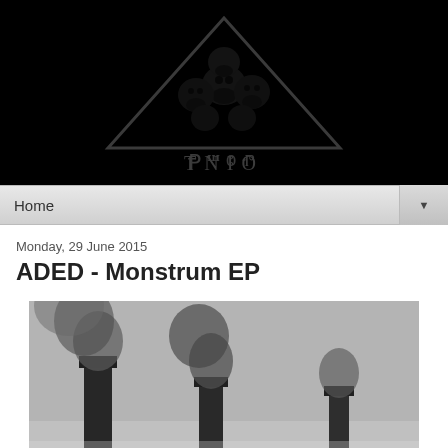[Figure (logo): TNIO logo: inverted triangle with skulls imagery and the text 'TNIO' in gothic font below, on a black background]
Home ▼
Monday, 29 June 2015
ADED - Monstrum EP
[Figure (photo): Black and white photo of industrial smokestacks emitting dark smoke into a cloudy sky]